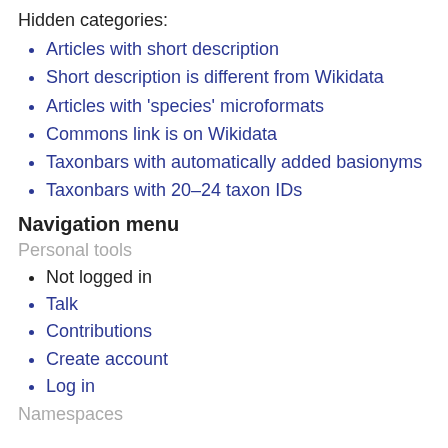Hidden categories:
Articles with short description
Short description is different from Wikidata
Articles with 'species' microformats
Commons link is on Wikidata
Taxonbars with automatically added basionyms
Taxonbars with 20–24 taxon IDs
Navigation menu
Personal tools
Not logged in
Talk
Contributions
Create account
Log in
Namespaces